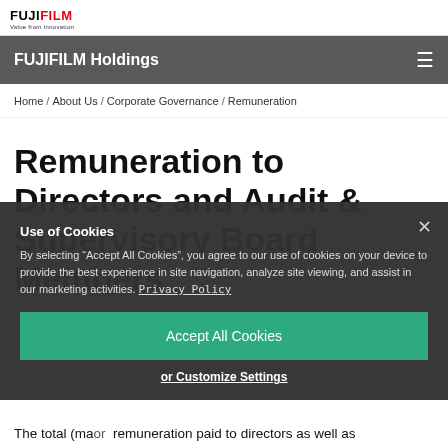FUJIFILM Holdings
Home / About Us / Corporate Governance / Remuneration
Remuneration to Directors and Audit & Supervisory Board Members
Use of Cookies
By selecting "Accept All Cookies", you agree to our use of cookies on your device to provide the best experience in site navigation, analyze site viewing, and assist in our marketing activities. Privacy Policy
Accept All Cookies
or Customize Settings
The total (ma or remuneration paid to directors as well as